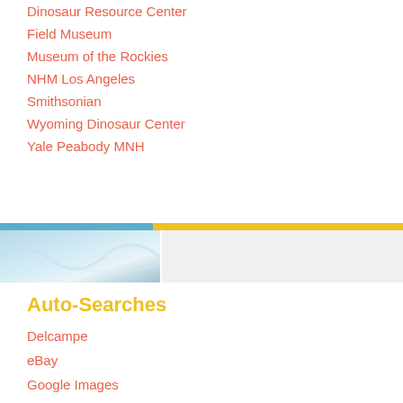Dinosaur Resource Center
Field Museum
Museum of the Rockies
NHM Los Angeles
Smithsonian
Wyoming Dinosaur Center
Yale Peabody MNH
[Figure (photo): Partial view of a blue/white textured image strip on the left side, with a light grey panel on the right, separated by a yellow and blue horizontal bar]
Auto-Searches
Delcampe
eBay
Google Images
WikiMedia
WikiPedia